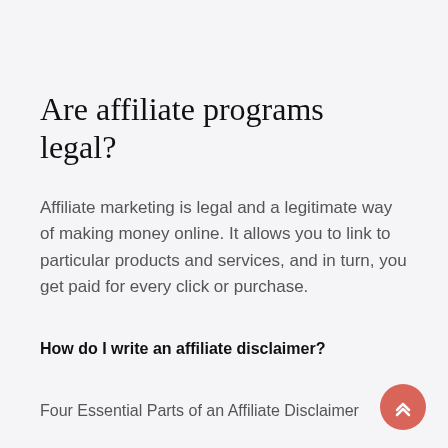Are affiliate programs legal?
Affiliate marketing is legal and a legitimate way of making money online. It allows you to link to particular products and services, and in turn, you get paid for every click or purchase.
How do I write an affiliate disclaimer?
Four Essential Parts of an Affiliate Disclaimer